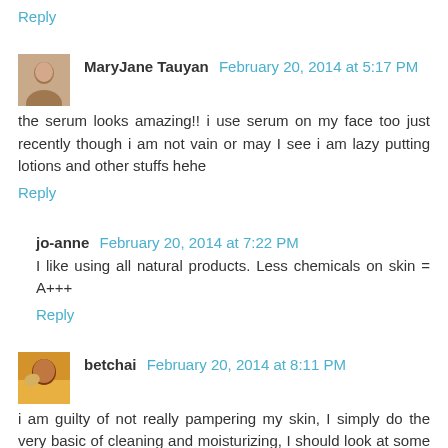Reply
MaryJane Tauyan February 20, 2014 at 5:17 PM
the serum looks amazing!! i use serum on my face too just recently though i am not vain or may I see i am lazy putting lotions and other stuffs hehe
Reply
jo-anne February 20, 2014 at 7:22 PM
I like using all natural products. Less chemicals on skin = A+++
Reply
betchai February 20, 2014 at 8:11 PM
i am guilty of not really pampering my skin, I simply do the very basic of cleaning and moisturizing, I should look at some of these probably since they sound really good